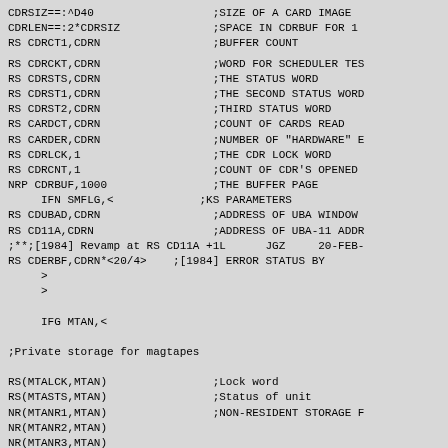CDRSIZ==:^D40                          ;SIZE OF A CARD IMAGE
CDRLEN==:2*CDRSIZ                      ;SPACE IN CDRBUF FOR 1
RS CDRCT1,CDRN                         ;BUFFER COUNT
RS CDRCKT,CDRN                         ;WORD FOR SCHEDULER TEST
RS CDRSTS,CDRN                         ;THE STATUS WORD
RS CDRST1,CDRN                         ;THE SECOND STATUS WORD
RS CDRST2,CDRN                         ;THIRD STATUS WORD
RS CARDCT,CDRN                         ;COUNT OF CARDS READ
RS CARDER,CDRN                         ;NUMBER OF "HARDWARE" E
RS CDRLCK,1                            ;THE CDR LOCK WORD
RS CDRCNT,1                            ;COUNT OF CDR'S OPENED
NRP CDRBUF,1000                        ;THE BUFFER PAGE
     IFN SMFLG,<                       ;KS PARAMETERS
RS CDUBAD,CDRN                         ;ADDRESS OF UBA WINDOW
RS CD11A,CDRN                          ;ADDRESS OF UBA-11 ADDR
;**;[1984] Revamp at RS CD11A +1L      JGZ     20-FEB-
RS CDERBF,CDRN*<20/4>                  ;[1984] ERROR STATUS BY
     >
     >

     IFG MTAN,<

;Private storage for magtapes

RS(MTALCK,MTAN)                        ;Lock word
RS(MTASTS,MTAN)                        ;Status of unit
NR(MTANR1,MTAN)                        ;NON-RESIDENT STORAGE F
NR(MTANR2,MTAN)
NR(MTANR3,MTAN)
NR(MTANR4,MTAN)